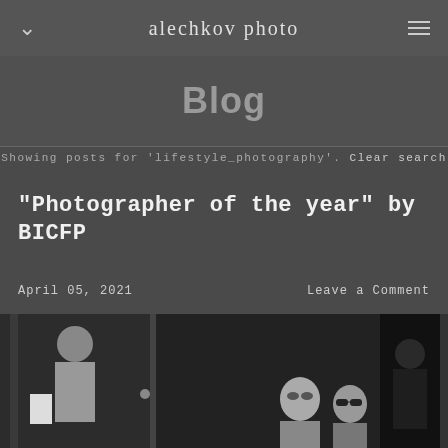alechkov photo
Blog
Showing posts for 'lifestyle_photography'. Clear search
"Photographer of the year" by BICFP
April 05, 2021    Leave a Comment
[Figure (photo): Black and white street photography showing children near a doorway, one child wearing sunglasses, with an adult figure partially visible]